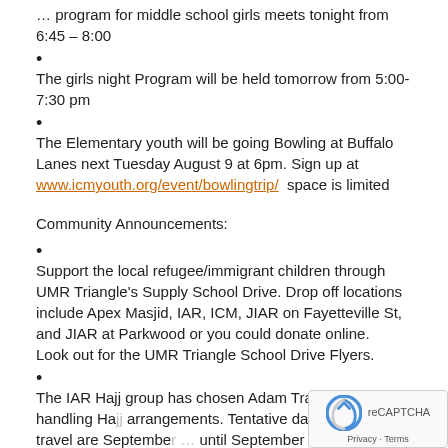… program for middle school girls meets tonight from 6:45 – 8:00
•
The girls night Program will be held tomorrow from 5:00-7:30 pm
•
The Elementary youth will be going Bowling at Buffalo Lanes next Tuesday August 9 at 6pm. Sign up at www.icmyouth.org/event/bowlingtrip/  space is limited
Community Announcements:
•
Support the local refugee/immigrant children through UMR Triangle's Supply School Drive. Drop off locations include Apex Masjid, IAR, ICM, JIAR on Fayetteville St, and JIAR at Parkwood or you could donate online.
Look out for the UMR Triangle School Drive Flyers.
•
The IAR Hajj group has chosen Adam Travel for handling Hajj arrangements. Tentative dates for Hajj travel are September … until September 15, 2016. If interested in joining the Masjid's … please register online.